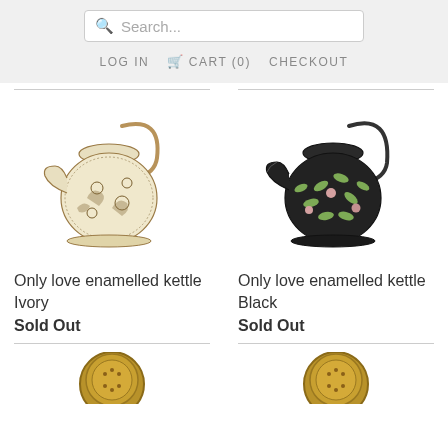Search... LOG IN CART (0) CHECKOUT
[Figure (photo): Ivory enamelled kettle with floral pattern and golden handle]
Only love enamelled kettle Ivory
Sold Out
[Figure (photo): Black enamelled kettle with green leaf and pink flower pattern]
Only love enamelled kettle Black
Sold Out
[Figure (photo): Brass decorative cup/pot with textured pattern, partially visible at bottom]
[Figure (photo): Brass decorative cup/pot with textured pattern, partially visible at bottom]